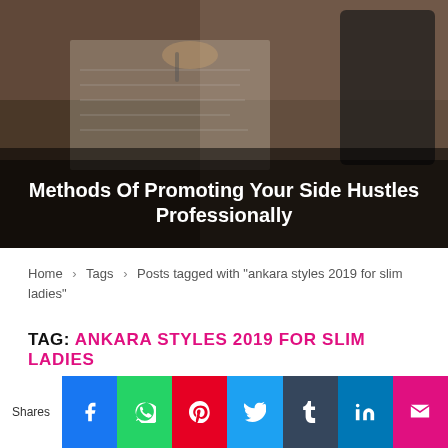[Figure (photo): Hero image of a person writing on paper at a desk, with dark overlay and white bold title text reading 'Methods Of Promoting Your Side Hustles Professionally']
Home > Tags > Posts tagged with "ankara styles 2019 for slim ladies"
TAG: ANKARA STYLES 2019 FOR SLIM LADIES
[Figure (infographic): Social sharing bar at bottom with icons for Facebook, WhatsApp, Pinterest, Twitter, Tumblr, LinkedIn, and a crown/email icon. Label 'Shares' on the left.]